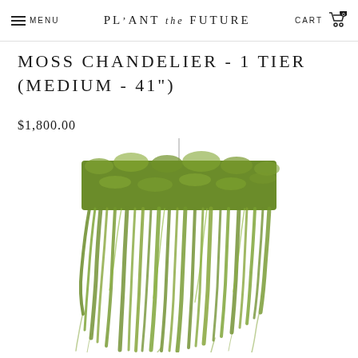MENU  PLANT the FUTURE  CART 0
MOSS CHANDELIER - 1 TIER (MEDIUM - 41")
$1,800.00
[Figure (photo): A lush green moss chandelier with long, draping tendrils of Spanish moss hanging from a rectangular frame, suspended by a thin wire, displayed against a white background.]